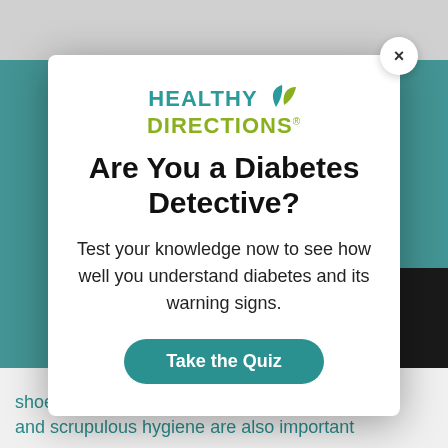[Figure (screenshot): Background of a website with teal product boxes on left and right sides, and partially visible text at the bottom reading 'shoes, including therapeutic insoles or re- and scrupulous hygiene are also important']
[Figure (logo): Healthy Directions logo with teal 'HEALTHY' text, olive/green leaf icon, and olive/green 'DIRECTIONS' text]
Are You a Diabetes Detective?
Test your knowledge now to see how well you understand diabetes and its warning signs.
Take the Quiz